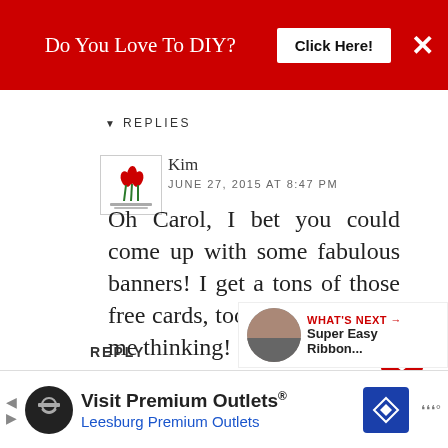[Figure (screenshot): Red advertisement banner at top with text 'Do You Love To DIY?', a 'Click Here!' button, and an X close button]
REPLIES
[Figure (logo): Creatively Homemade blog logo with red flowers]
Kim
JUNE 27, 2015 AT 8:47 PM
Oh Carol, I bet you could come up with some fabulous banners! I get a tons of those free cards, too. Now you have me thinking! ;-)
DELETE
REPLY
[Figure (screenshot): 'WHAT'S NEXT' panel with thumbnail and text 'Super Easy Ribbon...']
[Figure (screenshot): Bottom advertisement for Visit Premium Outlets - Leesburg Premium Outlets with logo and navigation icon]